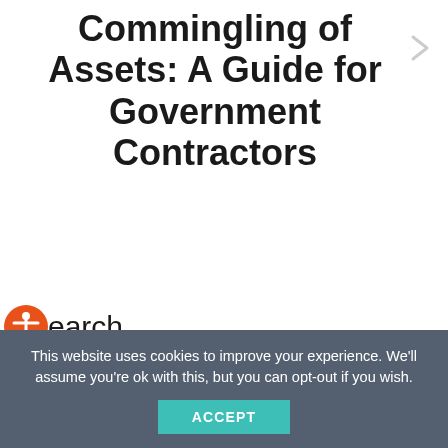Commingling of Assets: A Guide for Government Contractors
[Figure (other): Right arrow navigation icon in light gray]
Search
[Figure (other): Orange circular accessibility icon (person/vitruvian man symbol)]
Enter Keyword...
This website uses cookies to improve your experience. We’ll assume you’re ok with this, but you can opt-out if you wish.
ACCEPT